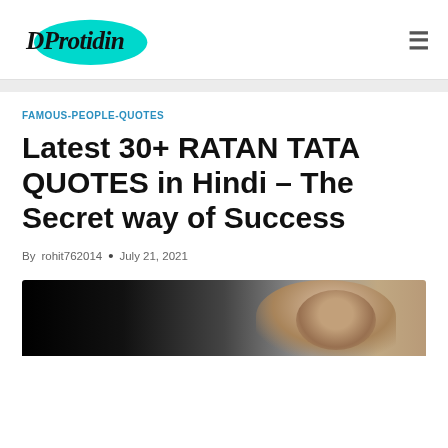DProtidin
FAMOUS-PEOPLE-QUOTES
Latest 30+ RATAN TATA QUOTES in Hindi – The Secret way of Success
By rohit762014 • July 21, 2021
[Figure (photo): Photo of Ratan Tata, partially visible, dark background on left transitioning to the subject on right]